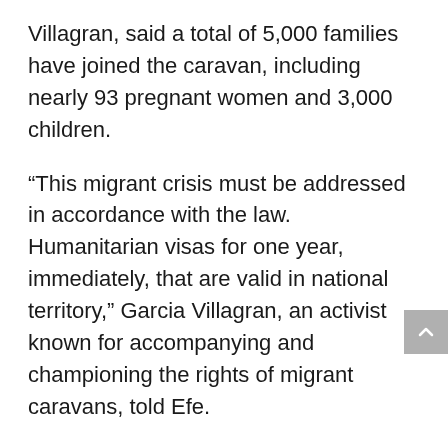Villagran, said a total of 5,000 families have joined the caravan, including nearly 93 pregnant women and 3,000 children.
“This migrant crisis must be addressed in accordance with the law. Humanitarian visas for one year, immediately, that are valid in national territory,” Garcia Villagran, an activist known for accompanying and championing the rights of migrant caravans, told Efe.
STRANDED IN SOUTHERN MEXICO
John Romero, a Venezuelan migrant, told Efe that he and his family have been trying